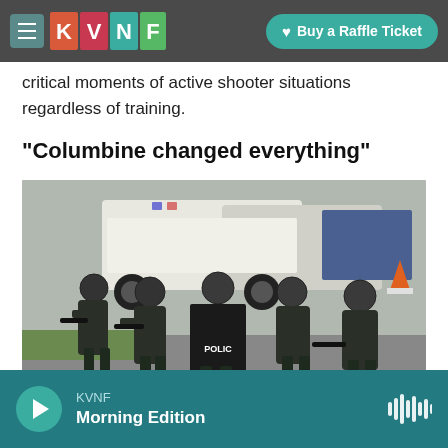KVNF | Buy a Raffle Ticket
critical moments of active shooter situations regardless of training.
"Columbine changed everything"
[Figure (photo): Armed SWAT/police officers in tactical gear and helmets advancing in a parking lot with police vehicles in the background.]
KVNF Morning Edition